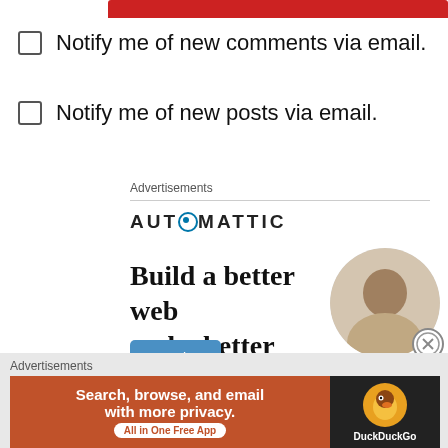Notify me of new comments via email.
Notify me of new posts via email.
Advertisements
[Figure (logo): Automattic logo with stylized O]
Build a better web and a better world.
[Figure (infographic): Automattic ad with Apply button and person photo]
Advertisements
[Figure (infographic): DuckDuckGo ad: Search, browse, and email with more privacy. All in One Free App]